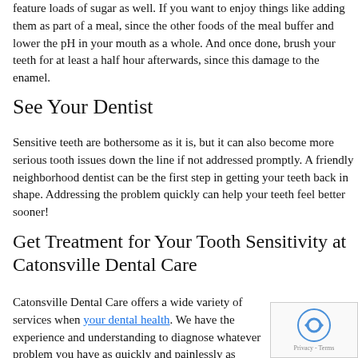feature loads of sugar as well. If you want to enjoy things like adding them as part of a meal, since the other foods of the meal buffer and lower the pH in your mouth as a whole. And once done, brush your teeth for at least a half hour afterwards, since this damage to the enamel.
See Your Dentist
Sensitive teeth are bothersome as it is, but it can also become more serious tooth issues down the line if not addressed promptly. A friendly neighborhood dentist can be the first step in getting your teeth back in shape. Addressing the problem quickly can help your teeth feel better sooner!
Get Treatment for Your Tooth Sensitivity at Catonsville Dental Care
Catonsville Dental Care offers a wide variety of services when it comes to your dental health. We have the experience and understanding to diagnose whatever problem you have as quickly and painlessly as possible. With the equipment available at our office and a commitment to comfort, you can be sure that you can't find a better provider for your health. We look forward to